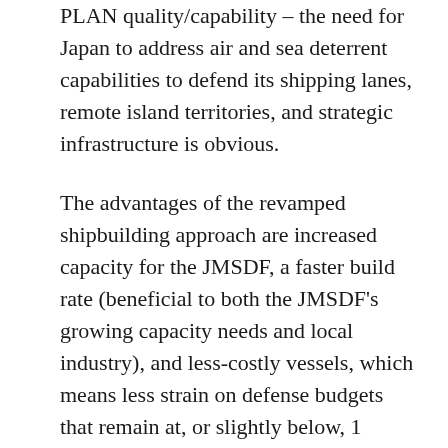PLAN quality/capability – the need for Japan to address air and sea deterrent capabilities to defend its shipping lanes, remote island territories, and strategic infrastructure is obvious.
The advantages of the revamped shipbuilding approach are increased capacity for the JMSDF, a faster build rate (beneficial to both the JMSDF's growing capacity needs and local industry), and less-costly vessels, which means less strain on defense budgets that remain at, or slightly below, 1 percent of GDP. Despite the smaller size and cheaper cost, the new ships are still expected to feature core mission requirements such as minesweeping and anti-submarine capability.
At present, the JMSDF does feature excellent fighting capability in the forms of the Soryu class submarines, the Kongo and Improved Kongo (also referred to as Atago)